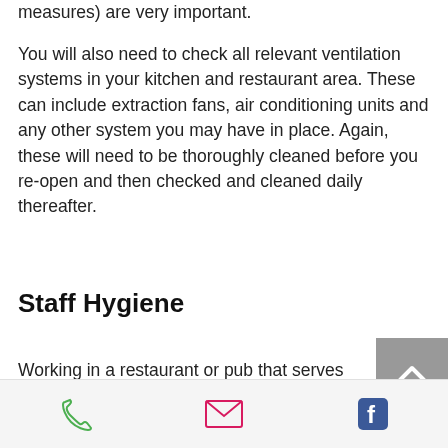measures) are very important.
You will also need to check all relevant ventilation systems in your kitchen and restaurant area. These can include extraction fans, air conditioning units and any other system you may have in place. Again, these will need to be thoroughly cleaned before you re-open and then checked and cleaned daily thereafter.
Staff Hygiene
Working in a restaurant or pub that serves food you should already have high personal hygiene standards in